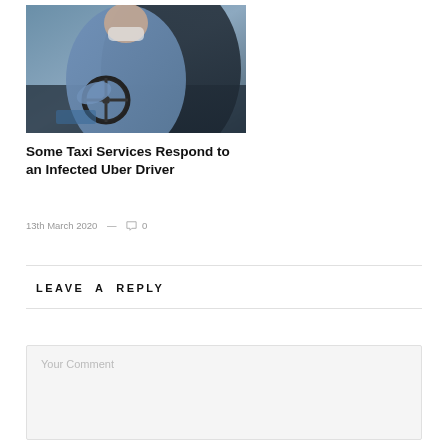[Figure (photo): A taxi or rideshare driver wearing a face mask, seen from behind, sitting in the driver seat with hands on the steering wheel.]
Some Taxi Services Respond to an Infected Uber Driver
13th March 2020  —  0
LEAVE A REPLY
Your Comment